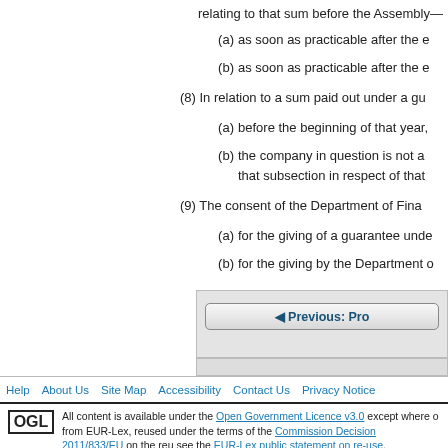relating to that sum before the Assembly—
(a)   as soon as practicable after the e
(b)   as soon as practicable after the e
(8) In relation to a sum paid out under a gu
(a)   before the beginning of that year,
(b)   the company in question is not a that subsection in respect of that
(9) The consent of the Department of Fina
(a)   for the giving of a guarantee unde
(b)   for the giving by the Department o
[Figure (other): Navigation box with Previous: Pro button]
Help   About Us   Site Map   Accessibility   Contact Us   Privacy Notice
All content is available under the Open Government Licence v3.0 except where o from EUR-Lex, reused under the terms of the Commission Decision 2011/833/EU on the reu see the EUR-Lex public statement on re-use.